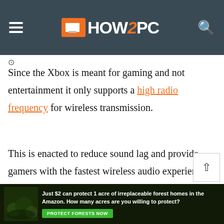HOW2PC (website header with navigation)
Since the Xbox is meant for gaming and not entertainment it only supports a high radio frequency for wireless transmission.
This is enacted to reduce sound lag and provide gamers with the fastest wireless audio experience possible. Unlike Bluetooth which used a lower radio frequency the
[Figure (other): Advertisement banner: Just $2 can protect 1 acre of irreplaceable forest homes in the Amazon. How many acres are you willing to protect? PROTECT FORESTS NOW]